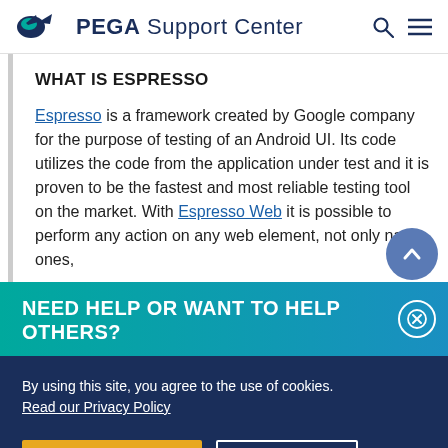PEGA Support Center
WHAT IS ESPRESSO
Espresso is a framework created by Google company for the purpose of testing of an Android UI. Its code utilizes the code from the application under test and it is proven to be the fastest and most reliable testing tool on the market. With Espresso Web it is possible to perform any action on any web element, not only native ones,
NEED HELP OR WANT TO HELP OTHERS?
By using this site, you agree to the use of cookies.
Read our Privacy Policy
Accept and continue    About cookies